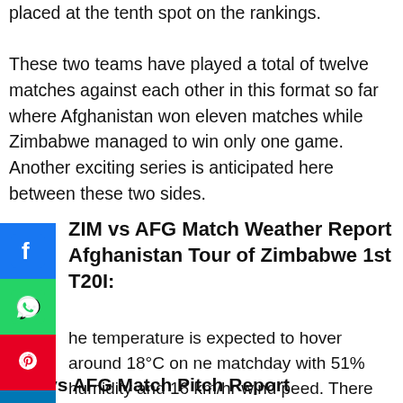placed at the tenth spot on the rankings.

These two teams have played a total of twelve matches against each other in this format so far where Afghanistan won eleven matches while Zimbabwe managed to win only one game. Another exciting series is anticipated here between these two sides.
ZIM vs AFG Match Weather Report Afghanistan Tour of Zimbabwe 1st T20I:
The temperature is expected to hover around 18°C on the matchday with 51% humidity and 16 km/hr wind speed. There are no chances of precipitation during the game.
ZIM vs AFG Match Pitch Report Afghanistan Tour of Zimbabwe 1st T20I: